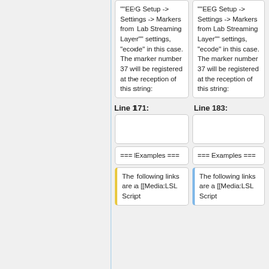""EEG Setup -> Settings -> Markers from Lab Streaming Layer"" settings, "ecode" in this case. The marker number 37 will be registered at the reception of this string:
""EEG Setup -> Settings -> Markers from Lab Streaming Layer"" settings, "ecode" in this case. The marker number 37 will be registered at the reception of this string:
Line 171:
Line 183:
=== Examples ===
=== Examples ===
The following links are a [[Media:LSL Script
The following links are a [[Media:LSL Script